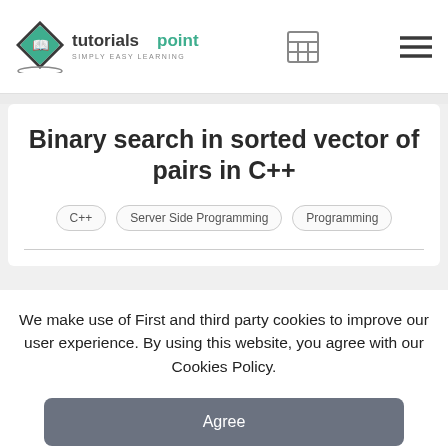[Figure (logo): Tutorialspoint logo — diamond with open book icon and text 'tutorialspoint SIMPLY EASY LEARNING']
Binary search in sorted vector of pairs in C++
C++
Server Side Programming
Programming
We make use of First and third party cookies to improve our user experience. By using this website, you agree with our Cookies Policy.
Agree
Learn more